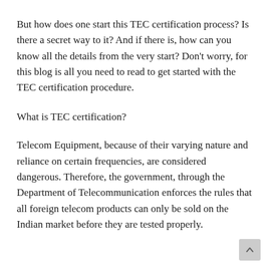But how does one start this TEC certification process? Is there a secret way to it? And if there is, how can you know all the details from the very start? Don't worry, for this blog is all you need to read to get started with the TEC certification procedure.
What is TEC certification?
Telecom Equipment, because of their varying nature and reliance on certain frequencies, are considered dangerous. Therefore, the government, through the Department of Telecommunication enforces the rules that all foreign telecom products can only be sold on the Indian market before they are tested properly.